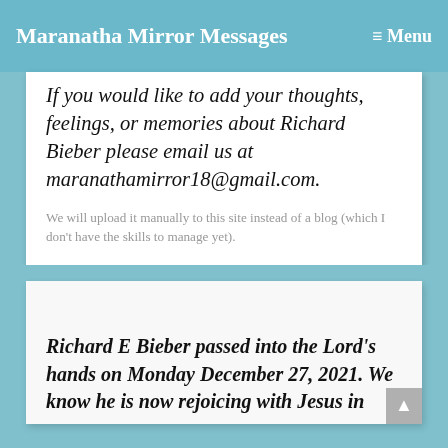Maranatha Mirror Messages   ≡ Menu
If you would like to add your thoughts, feelings, or memories about Richard Bieber please email us at maranathamirror18@gmail.com.
We will upload it manually to this site instead of a blog (which I don't have the skills to manage yet).
Richard E Bieber passed into the Lord's hands on Monday December 27, 2021. We know he is now rejoicing with Jesus in